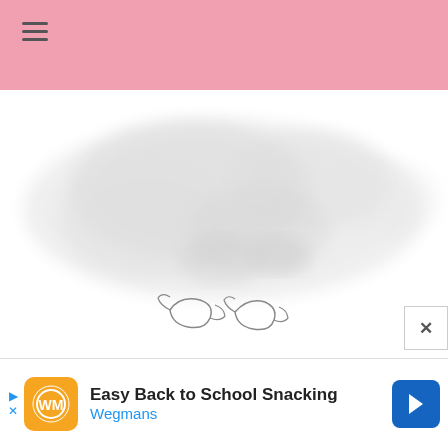[Figure (photo): Faded/blurred food photograph showing what appears to be baked goods or snacks, very light and washed out. Below the main image are two small line-drawing illustrations of what appear to be wrapped candies or food items.]
[Figure (infographic): Advertisement bar at bottom: Easy Back to School Snacking - Wegmans, with orange square icon, blue arrow icon on right, and navigation arrows on left.]